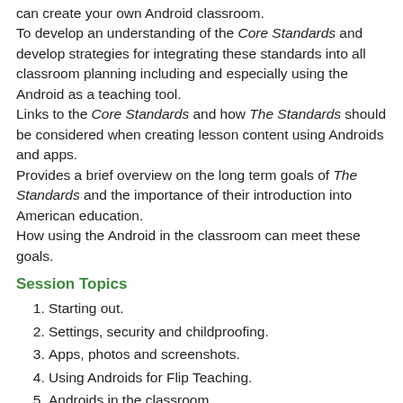can create your own Android classroom.
To develop an understanding of the Core Standards and develop strategies for integrating these standards into all classroom planning including and especially using the Android as a teaching tool.
Links to the Core Standards and how The Standards should be considered when creating lesson content using Androids and apps.
Provides a brief overview on the long term goals of The Standards and the importance of their introduction into American education.
How using the Android in the classroom can meet these goals.
Session Topics
Starting out.
Settings, security and childproofing.
Apps, photos and screenshots.
Using Androids for Flip Teaching.
Androids in the classroom.
Androids and the curriculum – English – Reading.